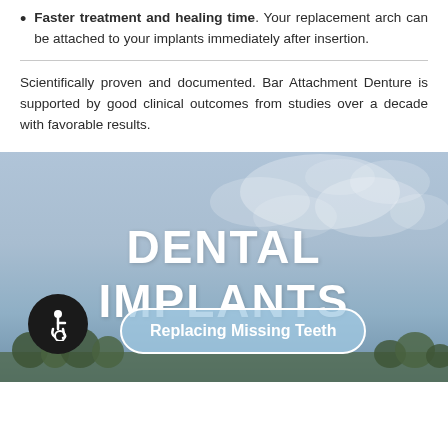Faster treatment and healing time. Your replacement arch can be attached to your implants immediately after insertion.
Scientifically proven and documented. Bar Attachment Denture is supported by good clinical outcomes from studies over a decade with favorable results.
[Figure (photo): Blue sky with clouds background section featuring the text DENTAL IMPLANTS in large white bold letters, an accessibility icon button (wheelchair symbol on dark circle), and a 'Replacing Missing Teeth' button, with tree silhouettes at the bottom.]